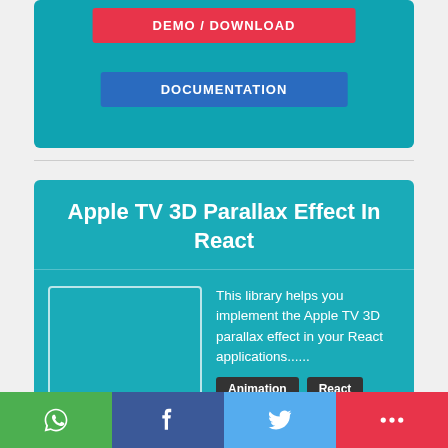[Figure (screenshot): Top portion of a teal card with a red DEMO / DOWNLOAD button and a blue DOCUMENTATION button]
Apple TV 3D Parallax Effect In React
[Figure (illustration): White-bordered empty image placeholder thumbnail]
This library helps you implement the Apple TV 3D parallax effect in your React applications......
Animation  React
WhatsApp share  Facebook share  Twitter share  More